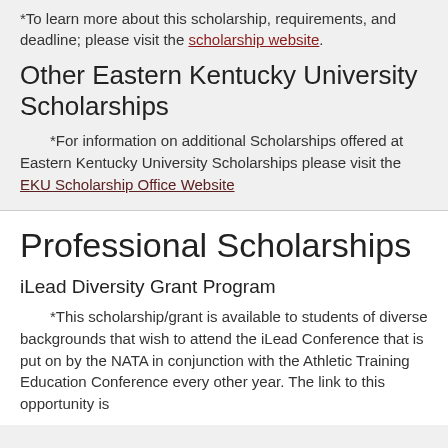*To learn more about this scholarship, requirements, and deadline; please visit the scholarship website.
Other Eastern Kentucky University Scholarships
*For information on additional Scholarships offered at Eastern Kentucky University Scholarships please visit the EKU Scholarship Office Website
Professional Scholarships
iLead Diversity Grant Program
*This scholarship/grant is available to students of diverse backgrounds that wish to attend the iLead Conference that is put on by the NATA in conjunction with the Athletic Training Education Conference every other year. The link to this opportunity is